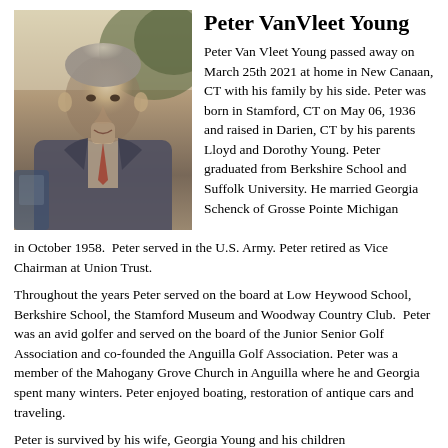Peter VanVleet Young
[Figure (photo): Black and white / sepia portrait photo of Peter VanVleet Young, a middle-aged man in a suit with a tie, photographed outdoors.]
Peter Van Vleet Young passed away on March 25th 2021 at home in New Canaan, CT with his family by his side. Peter was born in Stamford, CT on May 06, 1936 and raised in Darien, CT by his parents Lloyd and Dorothy Young. Peter graduated from Berkshire School and Suffolk University. He married Georgia Schenck of Grosse Pointe Michigan in October 1958.  Peter served in the U.S. Army. Peter retired as Vice Chairman at Union Trust.
Throughout the years Peter served on the board at Low Heywood School, Berkshire School, the Stamford Museum and Woodway Country Club.  Peter was an avid golfer and served on the board of the Junior Senior Golf Association and co-founded the Anguilla Golf Association. Peter was a member of the Mahogany Grove Church in Anguilla where he and Georgia spent many winters. Peter enjoyed boating, restoration of antique cars and traveling.
Peter is survived by his wife, Georgia Young and his children